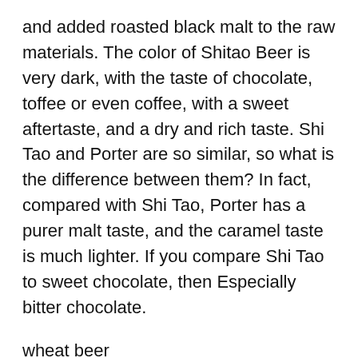and added roasted black malt to the raw materials. The color of Shitao Beer is very dark, with the taste of chocolate, toffee or even coffee, with a sweet aftertaste, and a dry and rich taste. Shi Tao and Porter are so similar, so what is the difference between them? In fact, compared with Shi Tao, Porter has a purer malt taste, and the caramel taste is much lighter. If you compare Shi Tao to sweet chocolate, then Especially bitter chocolate.
wheat beer
Most beer is made of 100% barley malt, while wheat beer uses about 40-60% wheat malt. Wheat malt will make beer have a brighter, fresher, and fresher taste. In addition, because of the high protein content of wheat malt, it will give the beer a little more fruity flavor